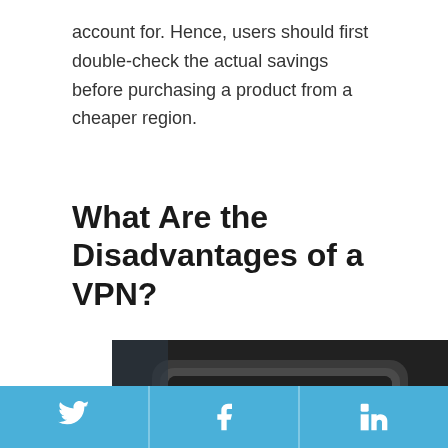account for. Hence, users should first double-check the actual savings before purchasing a product from a cheaper region.
What Are the Disadvantages of a VPN?
[Figure (photo): Person holding a tablet device displaying the text 'LOADING...' on the screen in orange digital-style font against a dark background.]
Twitter, Facebook, LinkedIn social share buttons